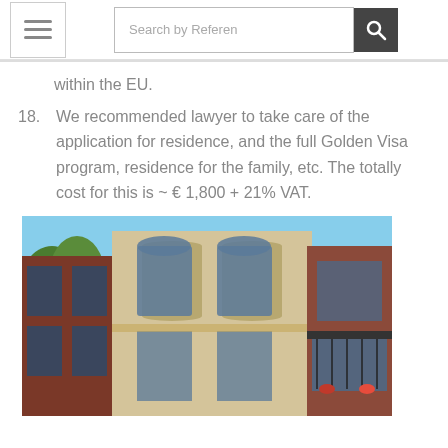Search by Referen
within the EU.
18. We recommended lawyer to take care of the application for residence, and the full Golden Visa program, residence for the family, etc. The totally cost for this is ~ € 1,800 + 21% VAT.
[Figure (photo): Photo of European-style building facades with balconies and windows, blue sky and green tree visible]